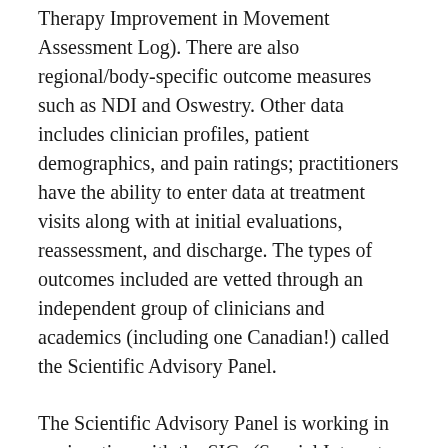Therapy Improvement in Movement Assessment Log). There are also regional/body-specific outcome measures such as NDI and Oswestry. Other data includes clinician profiles, patient demographics, and pain ratings; practitioners have the ability to enter data at treatment visits along with at initial evaluations, reassessment, and discharge. The types of outcomes included are vetted through an independent group of clinicians and academics (including one Canadian!) called the Scientific Advisory Panel.
The Scientific Advisory Panel is working in conjunction with the SIGs (Special Interest Groups) to develop prioritized objective data that the clinician would also collect as part of the PT Outcomes Registry based on the patient's diagnosis. These modules may be specific to cervical pain or to infant torticollis, for example, and